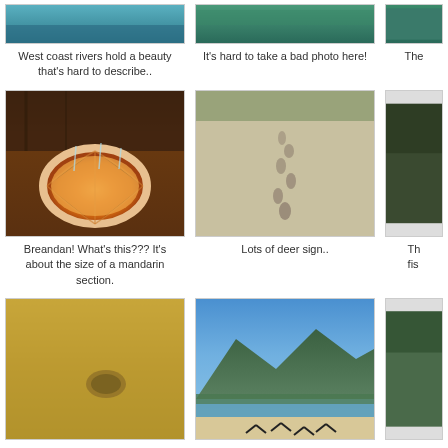[Figure (photo): West coast river scene, teal/blue water]
West coast rivers hold a beauty that's hard to describe..
[Figure (photo): River or lake scene, hard to take a bad photo]
It's hard to take a bad photo here!
[Figure (photo): Partially visible photo on right edge]
The
[Figure (photo): Orange mushroom/fungus that looks like a mandarin section on dark wood]
Breandan! What's this??? It's about the size of a mandarin section.
[Figure (photo): Deer tracks/sign in sand or mud]
Lots of deer sign..
[Figure (photo): Partially visible photo on right edge]
Th... fis...
[Figure (photo): Sandy/muddy underwater or beach scene with yellowish tones]
[Figure (photo): Beach scene with birds on sand, mountains and trees in background, blue sky]
[Figure (photo): Partially visible photo on right edge]